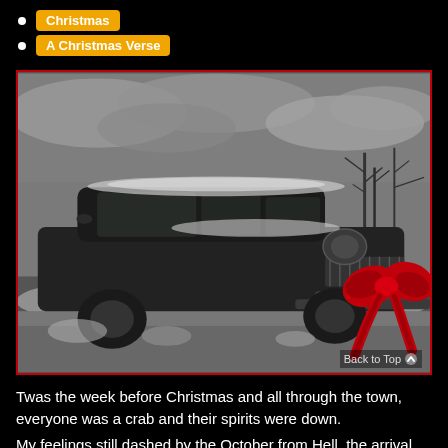Christmas
A Christmas Verse
[Figure (photo): Black and white photograph of a vintage hearse or large old car covered in snow, parked outdoors with bare winter trees visible in the background. A bright red Christmas bow is placed on the front right grille area of the car. The image has a red border.]
Twas the week before Christmas and all through the town, everyone was a crab and their spirits were down.
My feelings still dashed by the October from Hell, the arrival